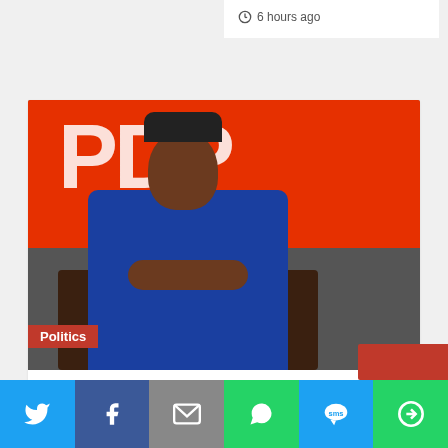6 hours ago
[Figure (photo): Man in blue outfit seated in front of red PDP party banner with Politics badge overlay]
PDP Crisis: I Won't Respond To Wike – Ayu
6 hours ago
[Figure (infographic): Social share bar with Twitter, Facebook, Email, WhatsApp, SMS, and More buttons]